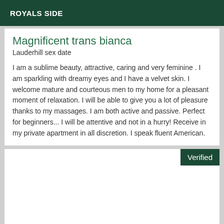ROYALS SIDE
Magnificent trans bianca
Lauderhill sex date
I am a sublime beauty, attractive, caring and very feminine . I am sparkling with dreamy eyes and I have a velvet skin. I welcome mature and courteous men to my home for a pleasant moment of relaxation. I will be able to give you a lot of pleasure thanks to my massages. I am both active and passive. Perfect for beginners... I will be attentive and not in a hurry! Receive in my private apartment in all discretion. I speak fluent American.
Verified